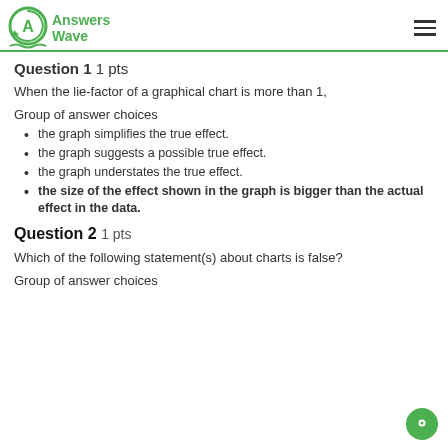Answers Wave
Question 1 1 pts
When the lie-factor of a graphical chart is more than 1,
Group of answer choices
the graph simplifies the true effect.
the graph suggests a possible true effect.
the graph understates the true effect.
the size of the effect shown in the graph is bigger than the actual effect in the data.
Question 2 1 pts
Which of the following statement(s) about charts is false?
Group of answer choices